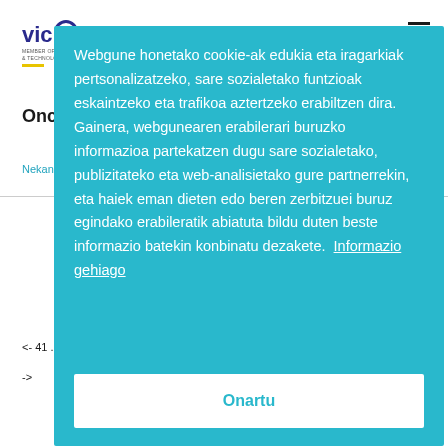[Figure (logo): Vicomtech logo with blue text and yellow underline bar, subtitle: MEMBER OF BASQUE RESEARCH & TECHNOLOGY ALLIANCE]
Oncology
Nekane Larburu Rubio ... Mónica Arrúe Gabaráin
Webgune honetako cookie-ak edukia eta iragarkiak pertsonalizatzeko, sare sozialetako funtzioak eskaintzeko eta trafikoa aztertzeko erabiltzen dira. Gainera, webgunearen erabilerari buruzko informazioa partekatzen dugu sare sozialetako, publizitateko eta web-analisietako gure partnerrekin, eta haiek eman dieten edo beren zerbitzuei buruz egindako erabileratik abiatuta bildu duten beste informazio batekin konbinatu dezakete. Informazio gehiago
Onartu